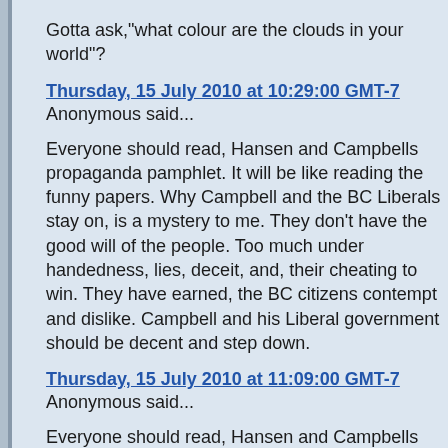Gotta ask,"what colour are the clouds in your world"?
Thursday, 15 July 2010 at 10:29:00 GMT-7
Anonymous said...
Everyone should read, Hansen and Campbells propaganda pamphlet. It will be like reading the funny papers. Why Campbell and the BC Liberals stay on, is a mystery to me. They don't have the good will of the people. Too much under handedness, lies, deceit, and, their cheating to win. They have earned, the BC citizens contempt and dislike. Campbell and his Liberal government should be decent and step down.
Thursday, 15 July 2010 at 11:09:00 GMT-7
Anonymous said...
Everyone should read, Hansen and Campbells propaganda pamphlet. It will be like reading the